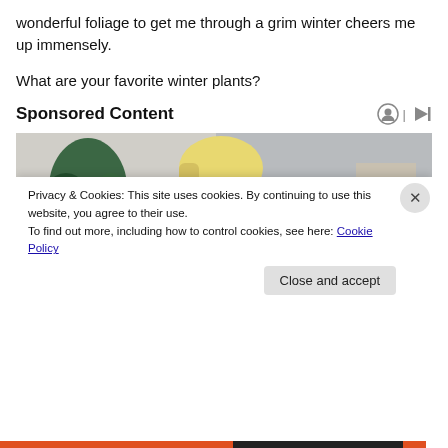wonderful foliage to get me through a grim winter cheers me up immensely.
What are your favorite winter plants?
Sponsored Content
[Figure (photo): Woman with short blonde hair wearing a yellow knit sweater, looking downward, with a green plant visible in the background.]
Privacy & Cookies: This site uses cookies. By continuing to use this website, you agree to their use.
To find out more, including how to control cookies, see here: Cookie Policy
Close and accept